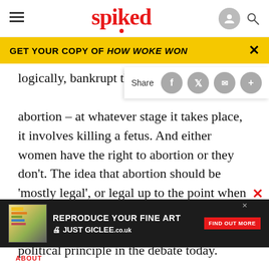spiked
GET YOUR COPY OF HOW WOKE WON
logically, bankrupt this argument. abortion – at whatever stage it takes place, it involves killing a fetus. And either women have the right to abortion or they don't. The idea that abortion should be 'mostly legal', or legal up to the point when the fetus really looks like a baby, indicates the absence of moral judgement and political principle in the debate today.
[Figure (screenshot): Advertisement banner: REPRODUCE YOUR FINE ART JUST GICLEE.co.uk with red FIND OUT MORE button]
ABOUT